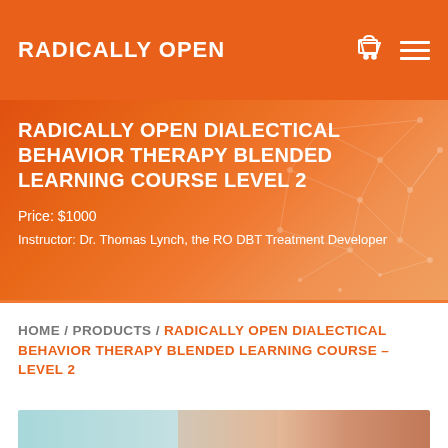RADICALLY OPEN
RADICALLY OPEN DIALECTICAL BEHAVIOR THERAPY BLENDED LEARNING COURSE LEVEL 2
Price: $1000
Instructor: Dr. Thomas Lynch, the RO DBT Treatment Developer
HOME / PRODUCTS / RADICALLY OPEN DIALECTICAL BEHAVIOR THERAPY BLENDED LEARNING COURSE – LEVEL 2
[Figure (photo): Partial view of a person in a professional/clinical setting]